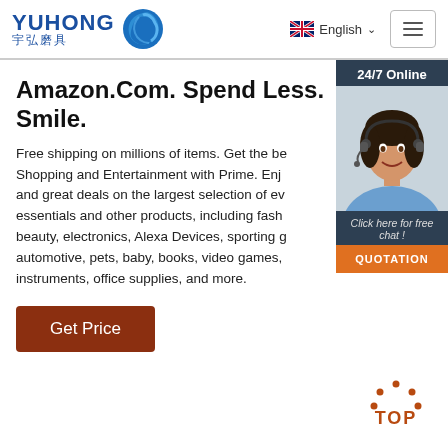YUHONG 宇弘磨具 — English — hamburger menu
Amazon.Com. Spend Less. Smile.
Free shipping on millions of items. Get the best of Shopping and Entertainment with Prime. Enjoy exclusive and great deals on the largest selection of everyday essentials and other products, including fashion, beauty, electronics, Alexa Devices, sporting goods, automotive, pets, baby, books, video games, musical instruments, office supplies, and more.
[Figure (other): 24/7 Online chat widget with a customer service representative photo, 'Click here for free chat!' text, and a QUOTATION button]
Get Price
[Figure (other): TOP button with dot arc icon in orange/brown color]